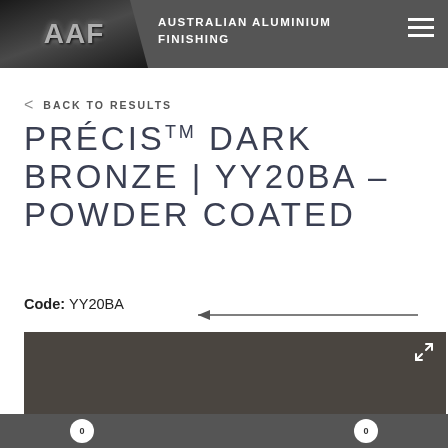AAF AUSTRALIAN ALUMINIUM FINISHING
< BACK TO RESULTS
PRÉCISTM DARK BRONZE | YY20BA - POWDER COATED
Code: YY20BA
[Figure (photo): Dark bronze powder coated aluminium colour swatch, showing a dark olive-brown tone with expand icon in top right corner]
Navigation dots (0, 0)